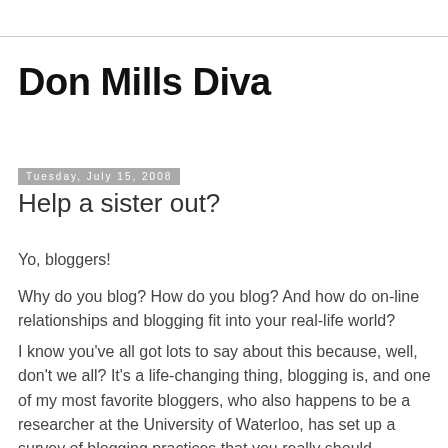Don Mills Diva
Tuesday, July 15, 2008
Help a sister out?
Yo, bloggers!
Why do you blog? How do you blog? And how do on-line relationships and blogging fit into your real-life world?
I know you've all got lots to say about this because, well, don't we all? It's a life-changing thing, blogging is, and one of my most favorite bloggers, who also happens to be a researcher at the University of Waterloo, has set up a survey of blogging practices that you really should participate in.